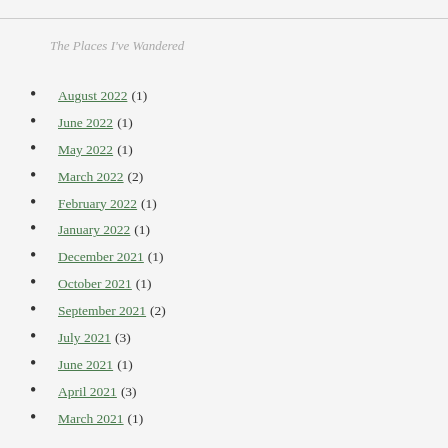The Places I've Wandered
August 2022 (1)
June 2022 (1)
May 2022 (1)
March 2022 (2)
February 2022 (1)
January 2022 (1)
December 2021 (1)
October 2021 (1)
September 2021 (2)
July 2021 (3)
June 2021 (1)
April 2021 (3)
March 2021 (1)